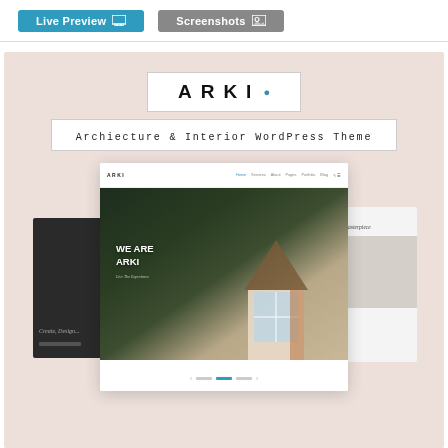[Figure (screenshot): Two buttons: 'Live Preview' (blue with monitor icon) and 'Screenshots' (gray with image icon) on a white background bar]
[Figure (screenshot): ARKI architecture and interior WordPress theme promotional screenshot. Shows the ARKI logo in a white box with a dot, subtitle 'Archiecture & Interior WordPress Theme', and a multilayer browser screenshot mockup showing the ARKI website with a modern house hero image, 'WE ARE ARKI' heading, and additional demo screens on left and right sides, all on a blush/rose background.]